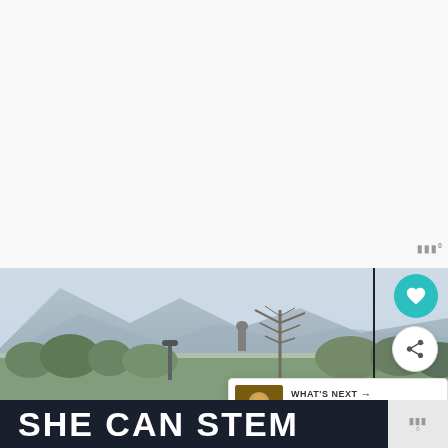[Figure (photo): Landscape photograph showing mountains in background with hazy sky, a large Buddha statue visible in the middle distance, trees in foreground including a prominent bare tree, and some street lamps. Scene appears to be Lantau Island, Hong Kong.]
WHAT'S NEXT →
7 Things to Know Befor...
SHE CAN STEM